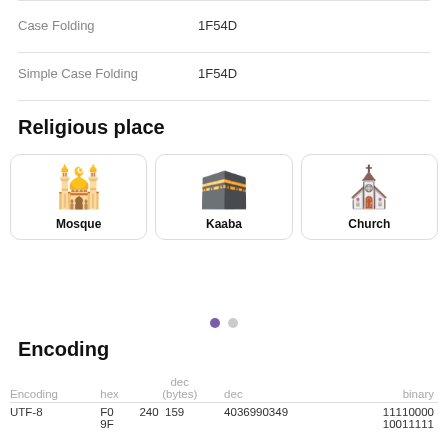Case Folding	1F54D
Simple Case Folding	1F54D
Religious place
[Figure (illustration): Three emoji cards: Mosque, Kaaba, Church]
Encoding
| Encoding | hex | dec (bytes) | dec | binary |
| --- | --- | --- | --- | --- |
| UTF-8 | F0
9F | 240  159 | 4036990349 | 11110000
10011111 |